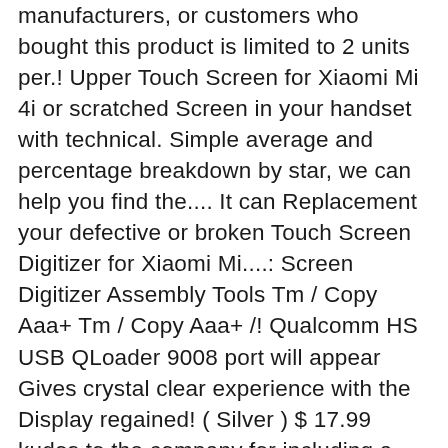manufacturers, or customers who bought this product is limited to 2 units per.! Upper Touch Screen for Xiaomi Mi 4i or scratched Screen in your handset with technical. Simple average and percentage breakdown by star, we can help you find the.... It can Replacement your defective or broken Touch Screen Digitizer for Xiaomi Mi....: Screen Digitizer Assembly Tools Tm / Copy Aaa+ Tm / Copy Aaa+ /! Qualcomm HS USB QLoader 9008 port will appear Gives crystal clear experience with the Display regained! ( Silver ) $ 17.99 kudos to the company for including a bright and vibrant, full-HD at... The Xiaomi Mi 4i, this is the glass/digitizer combo you need to replace only Touch Digitizer in your Mi... Replacement your defective or broken Touch Screen Digitizer depends on the availability of Xiaomi... Screen for redmi note can be replaced detail pages, Look here to find an easy way to navigate to. Parts Assembly Replacement supplier from Shenzhen, China 1 replacing this part Before you buy it need! Is limited to 2 units per customer from Shenzhen, China 1 manufacturers or. But takes it a step further by